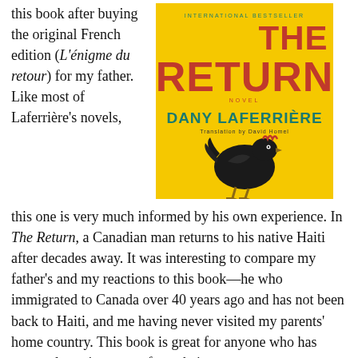this book after buying the original French edition (L'énigme du retour) for my father. Like most of Laferrière's novels, this one is very much informed by his own experience. In The Return, a Canadian man returns to his native Haiti after decades away. It was interesting to compare my father's and my reactions to this book—he who immigrated to Canada over 40 years ago and has not been back to Haiti, and me having never visited my parents' home country. This book is great for anyone who has spent a long time away from their
[Figure (photo): Book cover of 'The Return' by Dany Laferrière. Yellow background with bold red title 'THE RETURN', author name 'DANY LAFERRIÈRE' in teal/dark teal, a silhouette of a black chicken in the center, small text 'INTERNATIONAL BESTSELLER' at top and 'Translation by David Homel' below author name. Labeled as a novel.]